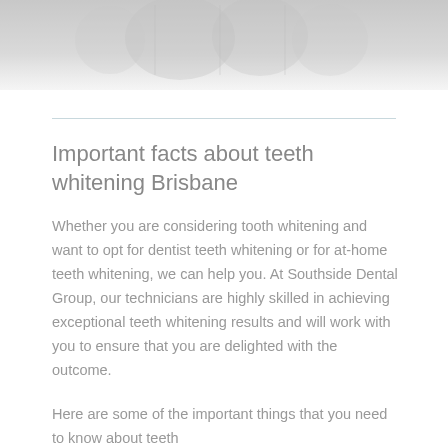[Figure (photo): Faded/greyed out dental or teeth whitening photo at the top of the page, partially visible and fading to white]
Important facts about teeth whitening Brisbane
Whether you are considering tooth whitening and want to opt for dentist teeth whitening or for at-home teeth whitening, we can help you. At Southside Dental Group, our technicians are highly skilled in achieving exceptional teeth whitening results and will work with you to ensure that you are delighted with the outcome.
Here are some of the important things that you need to know about teeth